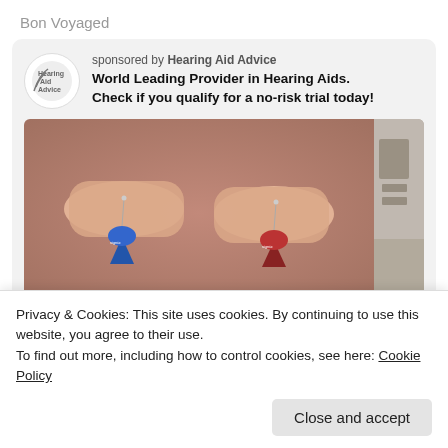Bon Voyaged
sponsored by Hearing Aid Advice
World Leading Provider in Hearing Aids.
Check if you qualify for a no-risk trial today!
[Figure (photo): Two fingers each holding a small hearing aid device (one blue, one red/maroon, both branded Signia), with a blurred background. Partial second image visible on the right edge.]
Privacy & Cookies: This site uses cookies. By continuing to use this website, you agree to their use.
To find out more, including how to control cookies, see here: Cookie Policy
Close and accept